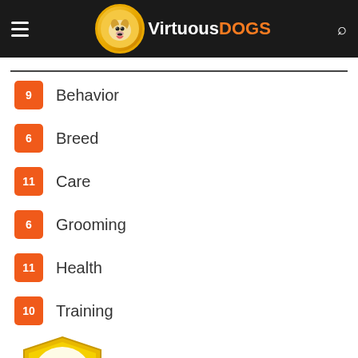Virtuous DOGS
9  Behavior
6  Breed
11  Care
6  Grooming
11  Health
10  Training
[Figure (logo): DMCA Protected gold shield badge with green 'PROTECTED' ribbon]
Navigation and social share buttons: back, comment, Facebook, Twitter, Google+, Pinterest, LinkedIn, forward